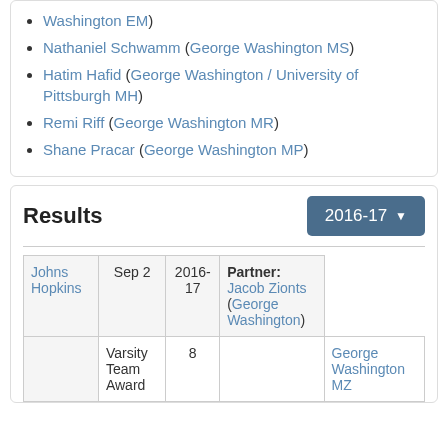Washington EM)
Nathaniel Schwamm (George Washington MS)
Hatim Hafid (George Washington / University of Pittsburgh MH)
Remi Riff (George Washington MR)
Shane Pracar (George Washington MP)
Results
|  | Date | Year | Partner |
| --- | --- | --- | --- |
| Johns Hopkins | Sep 2 | 2016-17 | Partner: Jacob Zionts (George Washington) |
| Varsity Team Award | 8 |  | George Washington MZ |